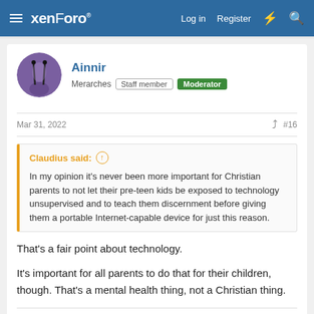xenForo — Log in  Register
Ainnir
Merarches  Staff member  Moderator
Mar 31, 2022  #16
Claudius said: ↑
In my opinion it's never been more important for Christian parents to not let their pre-teen kids be exposed to technology unsupervised and to teach them discernment before giving them a portable Internet-capable device for just this reason.
That's a fair point about technology.
It's important for all parents to do that for their children, though. That's a mental health thing, not a Christian thing.
Irened